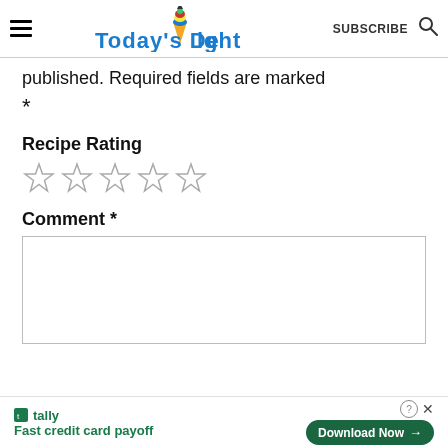TODAY'S DELIGHT  SUBSCRIBE
published. Required fields are marked *
Recipe Rating
☆☆☆☆☆
Comment *
[Figure (other): Empty comment text area input box with border]
tally Fast credit card payoff  Download Now →